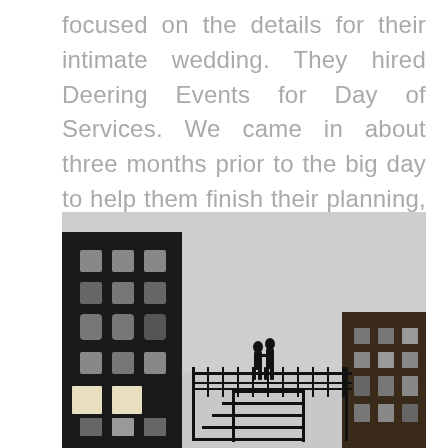focused on the details for their intimate wedding. They hired Deering Events for Day of Services. We came in about three months prior to the big day to help them finish their planning, create a wedding day timeline, and execute all the details.
[Figure (photo): Black and white photograph of a couple silhouetted on a rooftop or fire escape balcony between urban buildings, appears to be kissing or embracing, city buildings visible on left and right]